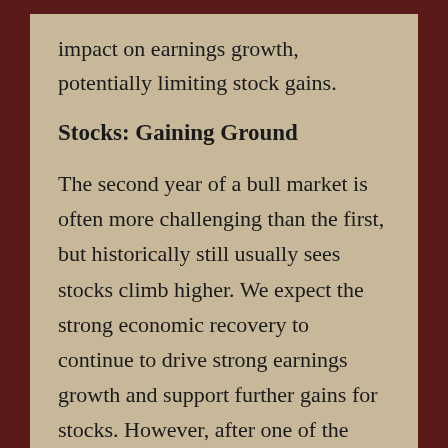impact on earnings growth, potentially limiting stock gains.
Stocks: Gaining Ground
The second year of a bull market is often more challenging than the first, but historically still usually sees stocks climb higher. We expect the strong economic recovery to continue to drive strong earnings growth and support further gains for stocks. However, after one of the strongest starts to a bull market in history, including a more than